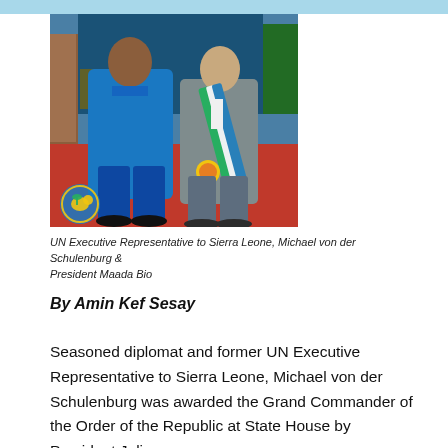[Figure (photo): Two men standing side by side on a red carpet. The man on the left wears a blue outfit, the man on the right wears a grey suit and has a green, white and blue sash/medal around his neck. There is a Sierra Leone coat of arms watermark in the lower left corner.]
UN Executive Representative to Sierra Leone, Michael von der Schulenburg & President Maada Bio
By Amin Kef Sesay
Seasoned diplomat and former UN Executive Representative to Sierra Leone, Michael von der Schulenburg was awarded the Grand Commander of the Order of the Republic at State House by President Julius